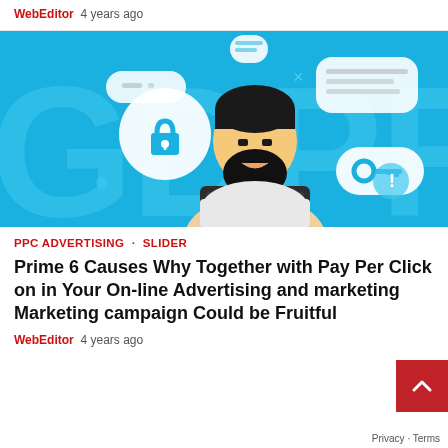WebEditor  4 years ago
[Figure (illustration): GDPR themed illustration with a bearded man using a laptop, surrounded by speech bubbles containing a lock icon, key icon, and text bubbles, on a blue background with large GDPR letters]
PPC ADVERTISING · SLIDER
Prime 6 Causes Why Together with Pay Per Click on in Your On-line Advertising and marketing Marketing campaign Could be Fruitful
WebEditor  4 years ago